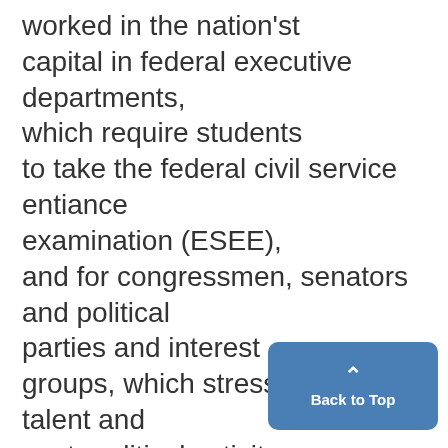worked in the nation'st capital in federal executive departments, which require students to take the federal civil service entiance examination (ESEE), and for congressmen, senators and political parties and interest groups, which stress political talent and past- political activity. "Deadline for application for a special new civil test for stu- dent office and scientific assista department jobs is Jan. 3, 1966. Senior and graduate students